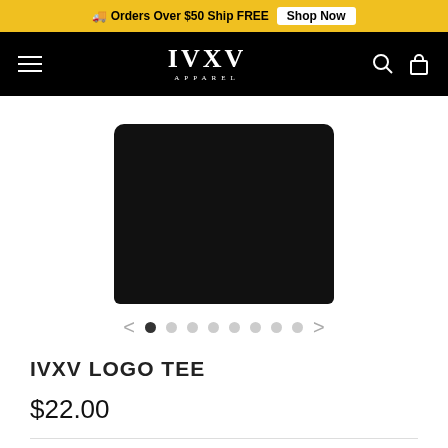Orders Over $50 Ship FREE  Shop Now
IVXV APPAREL
[Figure (photo): Black t-shirt product image with IVXV logo, shown on white background with image carousel navigation dots below]
IVXV LOGO TEE
$22.00
Pay in 4 interest-free installments for orders over $50 with
shop Pay  Learn more
★★★★★
Size: XS